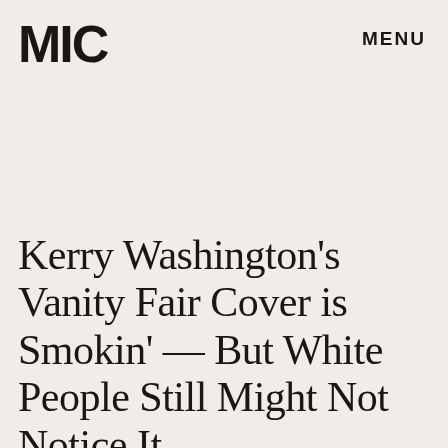MIC   MENU
Kerry Washington's Vanity Fair Cover is Smokin' — But White People Still Might Not Notice It